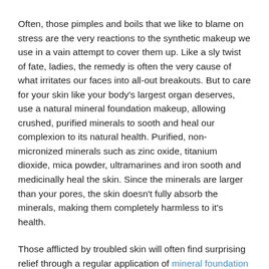Often, those pimples and boils that we like to blame on stress are the very reactions to the synthetic makeup we use in a vain attempt to cover them up. Like a sly twist of fate, ladies, the remedy is often the very cause of what irritates our faces into all-out breakouts. But to care for your skin like your body's largest organ deserves, use a natural mineral foundation makeup, allowing crushed, purified minerals to sooth and heal our complexion to its natural health. Purified, non-micronized minerals such as zinc oxide, titanium dioxide, mica powder, ultramarines and iron sooth and medicinally heal the skin. Since the minerals are larger than your pores, the skin doesn't fully absorb the minerals, making them completely harmless to it's health.
Those afflicted by troubled skin will often find surprising relief through a regular application of mineral foundation makeup. Being free from the synthetic chemicals found in more unnatural foundations, a mineral foundation provides that healing layer naturally, enriched with natural irons and zinc that